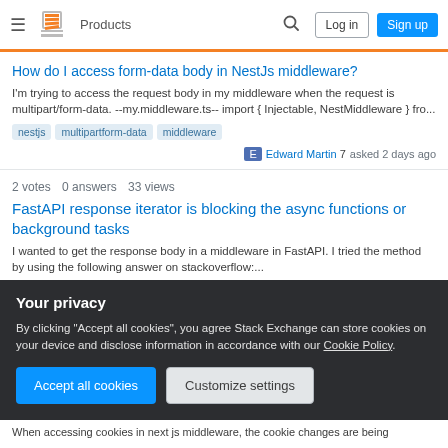≡  Products  🔍  Log in  Sign up
How do I access form-data body in NestJs middleware?
I'm trying to access the request body in my middleware when the request is multipart/form-data. --my.middleware.ts-- import { Injectable, NestMiddleware } fro...
nestjs
multipartform-data
middleware
E  Edward Martin  7  asked 2 days ago
2 votes  0 answers  33 views
FastAPI response iterator is blocking the async functions or background tasks
I wanted to get the response body in a middleware in FastAPI. I tried the method by using the following answer on stackoverflow:...
Your privacy
By clicking "Accept all cookies", you agree Stack Exchange can store cookies on your device and disclose information in accordance with our Cookie Policy.
Accept all cookies  Customize settings
When accessing cookies in next js middleware, the cookie changes are being